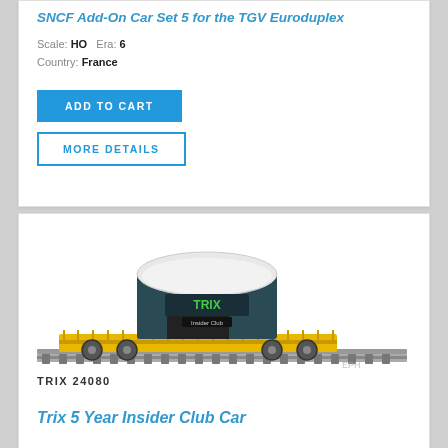SNCF Add-On Car Set 5 for the TGV Euroduplex
Scale: HO   Era: 6
Country: France
[Figure (illustration): Yellow flatcar with dark grey/teal hopper container on track, Trix brand model train, EPH watermark]
TRIX 24080
Trix 5 Year Insider Club Car